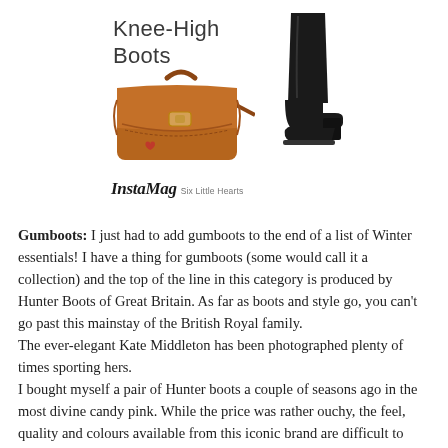[Figure (illustration): InstaMag magazine-style image showing 'Knee-High Boots' title text alongside a tan leather handbag and a black knee-high boot on white background, with 'InstaMag Six Little Hearts' branding below]
Gumboots: I just had to add gumboots to the end of a list of Winter essentials! I have a thing for gumboots (some would call it a collection) and the top of the line in this category is produced by Hunter Boots of Great Britain. As far as boots and style go, you can't go past this mainstay of the British Royal family. The ever-elegant Kate Middleton has been photographed plenty of times sporting hers. I bought myself a pair of Hunter boots a couple of seasons ago in the most divine candy pink. While the price was rather ouchy, the feel, quality and colours available from this iconic brand are difficult to surpass. The constant stream of compliments they